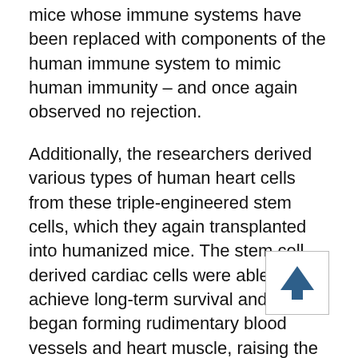mice whose immune systems have been replaced with components of the human immune system to mimic human immunity – and once again observed no rejection.
Additionally, the researchers derived various types of human heart cells from these triple-engineered stem cells, which they again transplanted into humanized mice. The stem cell-derived cardiac cells were able to achieve long-term survival and even began forming rudimentary blood vessels and heart muscle, raising the possibility that triple-engineered stem cells may one day be used to repair failing hearts.
“Our technique solves the problem of rejection of stem cells and stem cell-derived tissues, and represents a major advance for the stem cell therapy field, Reuse said. “Our technique can benefit a wider range of people with production costs that are far lower than any individualized approach. We only need to